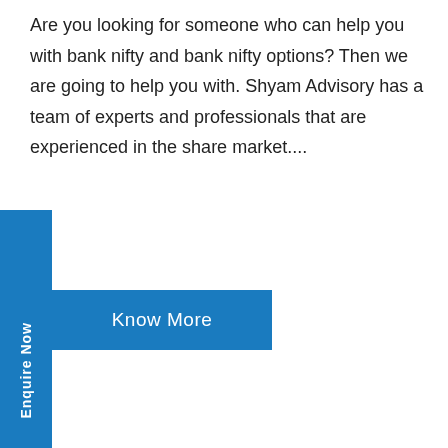Are you looking for someone who can help you with bank nifty and bank nifty options? Then we are going to help you with. Shyam Advisory has a team of experts and professionals that are experienced in the share market....
Enquire Now
Know More